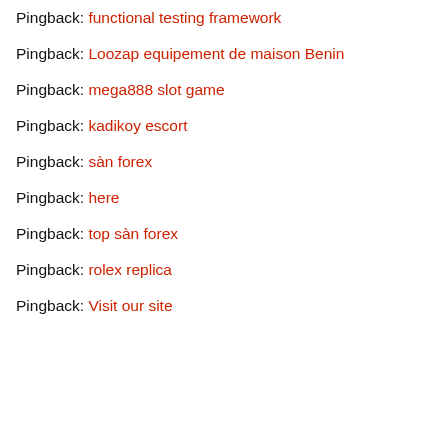Pingback: functional testing framework
Pingback: Loozap equipement de maison Benin
Pingback: mega888 slot game
Pingback: kadikoy escort
Pingback: sàn forex
Pingback: here
Pingback: top sàn forex
Pingback: rolex replica
Pingback: Visit our site